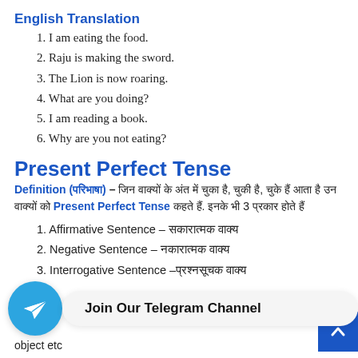English Translation
1. I am eating the food.
2. Raju is making the sword.
3. The Lion is now roaring.
4. What are you doing?
5. I am reading a book.
6. Why are you not eating?
Present Perfect Tense
Definition (परिभाषा) – जिन वाक्यों के अंत में चुका है, चुकी है, चुके हैं आता है उन वाक्यों को Present Perfect Tense कहते हैं. इनके भी 3 प्रकार होते हैं
1. Affirmative Sentence – सकारात्मक वाक्य
2. Negative Sentence – नकारात्मक वाक्य
3. Interrogative Sentence –प्रश्नसूचक वाक्य
Rule (नियम)– ... d form ... object etc